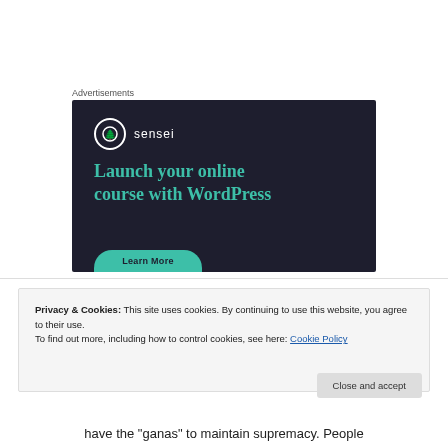Advertisements
[Figure (screenshot): Sensei advertisement banner with dark background showing 'Launch your online course with WordPress' headline in teal, Sensei logo with tree icon, and a 'Learn More' button]
Privacy & Cookies: This site uses cookies. By continuing to use this website, you agree to their use.
To find out more, including how to control cookies, see here: Cookie Policy
Close and accept
have the "ganas" to maintain supremacy. People